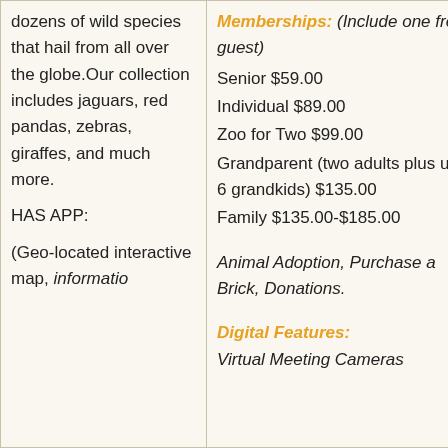| dozens of wild species that hail from all over the globe.Our collection includes jaguars, red pandas, zebras, giraffes, and much more.

HAS APP:

(Geo-located interactive map, information... | Memberships: (Include one free guest)
Senior $59.00
Individual $89.00
Zoo for Two $99.00
Grandparent (two adults plus up to 6 grandkids) $135.00
Family $135.00-$185.00

Animal Adoption, Purchase a Brick, Donations.

Digital Features:
Virtual Meeting Cameras... |